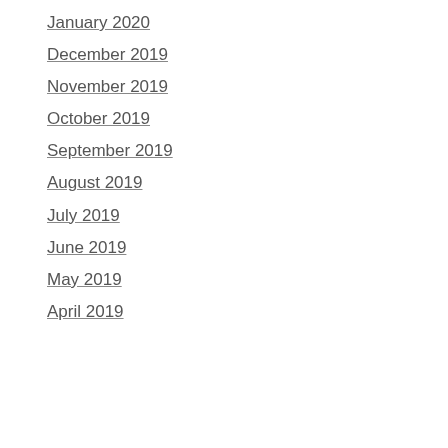January 2020
December 2019
November 2019
October 2019
September 2019
August 2019
July 2019
June 2019
May 2019
April 2019